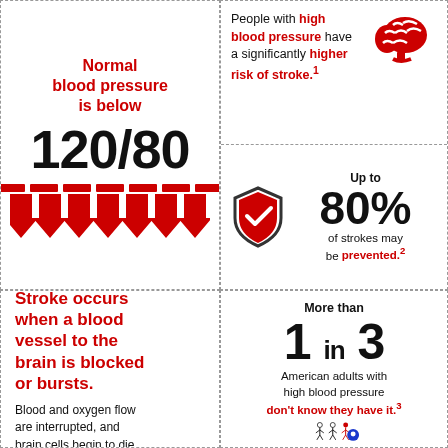Normal blood pressure is below
120/80
People with high blood pressure have a significantly higher risk of stroke.¹
Up to 80% of strokes may be prevented.²
Stroke occurs when a blood vessel to the brain is blocked or bursts.
Blood and oxygen flow are interrupted, and brain cells begin to die.
More than 1 in 3 American adults with high blood pressure don't know they have it.³